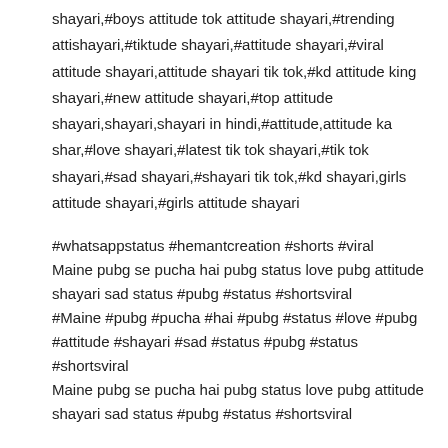shayari,#boys attitude tok attitude shayari,#trending attishayari,#tiktude shayari,#attitude shayari,#viral attitude shayari,attitude shayari tik tok,#kd attitude king shayari,#new attitude shayari,#top attitude shayari,shayari,shayari in hindi,#attitude,attitude ka shar,#love shayari,#latest tik tok shayari,#tik tok shayari,#sad shayari,#shayari tik tok,#kd shayari,girls attitude shayari,#girls attitude shayari
#whatsappstatus #hemantcreation #shorts #viral
Maine pubg se pucha hai pubg status love pubg attitude shayari sad status #pubg #status #shortsviral
#Maine #pubg #pucha #hai #pubg #status #love #pubg #attitude #shayari #sad #status #pubg #status #shortsviral
Maine pubg se pucha hai pubg status love pubg attitude shayari sad status #pubg #status #shortsviral
Youtube